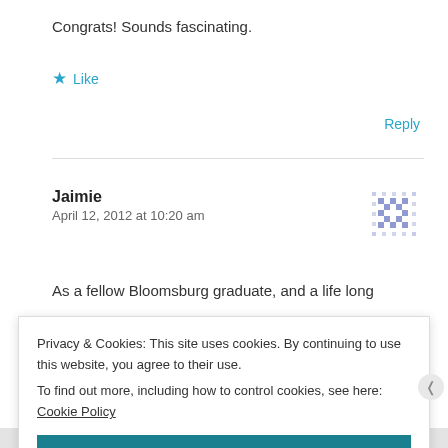Congrats! Sounds fascinating.
★ Like
Reply
Jaimie
April 12, 2012 at 10:20 am
As a fellow Bloomsburg graduate, and a life long
Privacy & Cookies: This site uses cookies. By continuing to use this website, you agree to their use.
To find out more, including how to control cookies, see here: Cookie Policy
Close and accept